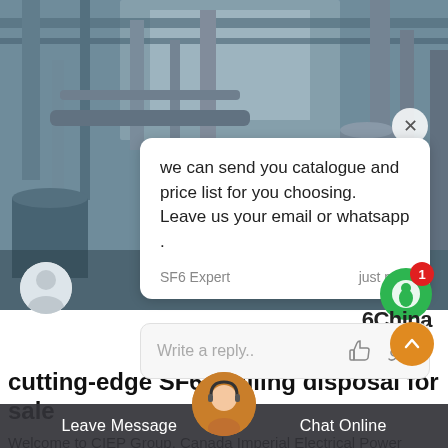[Figure (photo): Background photo of industrial facility with pipes, tanks, and electrical equipment in a large warehouse/factory setting]
we can send you catalogue and price list for you choosing. Leave us your email or whatsapp .
SF6 Expert    just now
Write a reply..
6China
cutting-edge SF6 refilling disposal for sale
Welcome to CIEP Group. Canada Imperial Electrical Power Group (CIEP Group) is located in Vancouver, B.C., the largest industrial, commercial, technological and cultural city on Canada's west coast. Vancouver is renowned for its beautiful scenery and
Leave Message
Chat Online